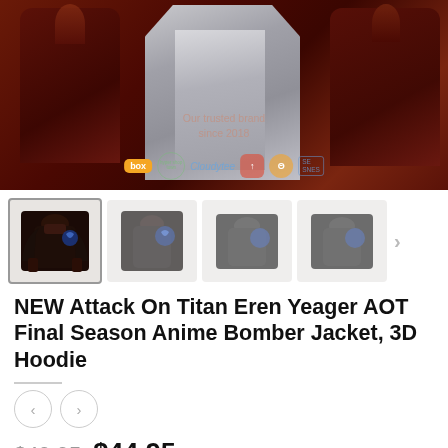[Figure (photo): Product banner showing anime bomber jackets and hoodies on dark reddish-brown background with trust badges and brand logos. Shows 'Our trusted brand since 2018' text.]
[Figure (photo): Row of four product thumbnail images showing Attack on Titan Eren Yeager anime hoodies from different angles, with a next arrow.]
NEW Attack On Titan Eren Yeager AOT Final Season Anime Bomber Jacket, 3D Hoodie
[Figure (other): Left and right navigation arrow buttons (circle buttons)]
$49.95  $44.95